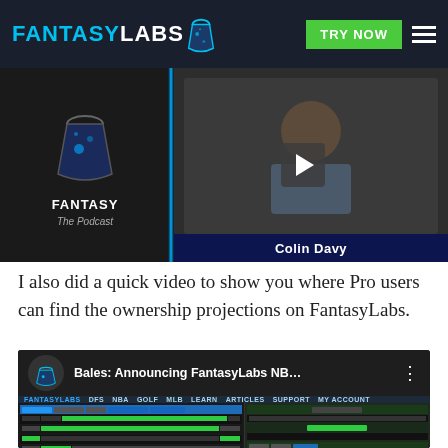FantasyLabs — TRY NOW navigation header
[Figure (screenshot): Video thumbnail showing Fantasy Labs podcast branding on the left and Colin Davy appearing in a webcam feed on the right with a play button overlay]
I also did a quick video to show you where Pro users can find the ownership projections on FantasyLabs.
[Figure (screenshot): YouTube video thumbnail showing 'Bales: Announcing FantasyLabs NB...' with FantasyLabs website interface screenshot below showing the Bales Model tool with player data table in green highlights]